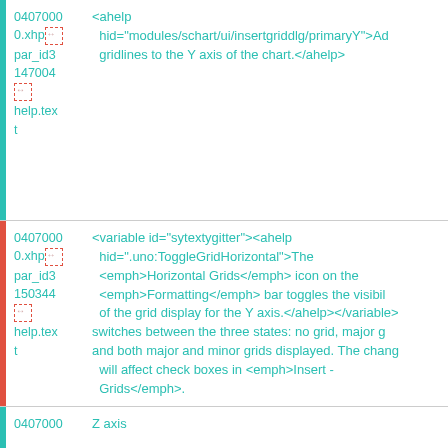| 0407000
0.xhp
par_id3
147004

help.text | <ahelp hid="modules/schart/ui/insertgriddlg/primaryY">Adds gridlines to the Y axis of the chart.</ahelp> |
| 0407000
0.xhp
par_id3
150344

help.text | <variable id="sytextygitter"><ahelp hid=".uno:ToggleGridHorizontal">The <emph>Horizontal Grids</emph> icon on the <emph>Formatting</emph> bar toggles the visibility of the grid display for the Y axis.</ahelp></variable> switches between the three states: no grid, major grids, and both major and minor grids displayed. The change will affect check boxes in <emph>Insert - Grids</emph>. |
| 0407000 | Z axis |